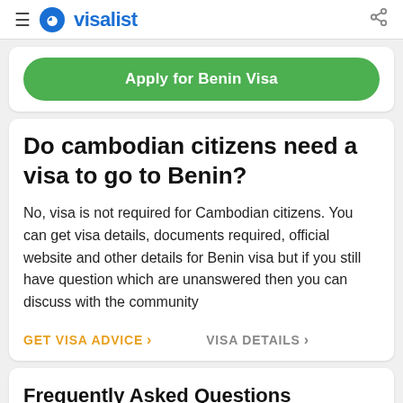≡  visalist  <
Apply for Benin Visa
Do cambodian citizens need a visa to go to Benin?
No, visa is not required for Cambodian citizens. You can get visa details, documents required, official website and other details for Benin visa but if you still have question which are unanswered then you can discuss with the community
GET VISA ADVICE >   VISA DETAILS >
Frequently Asked Questions